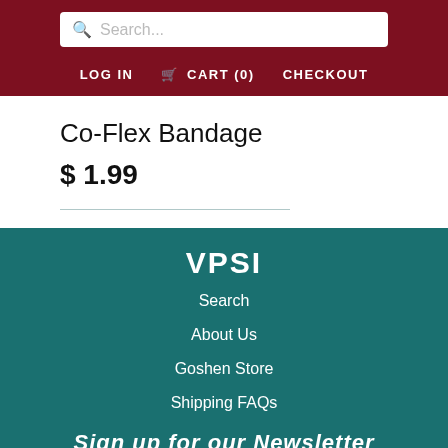Search...
LOG IN  CART (0)  CHECKOUT
Co-Flex Bandage
$ 1.99
VPSI
Search
About Us
Goshen Store
Shipping FAQs
Sign up for our Newsletter